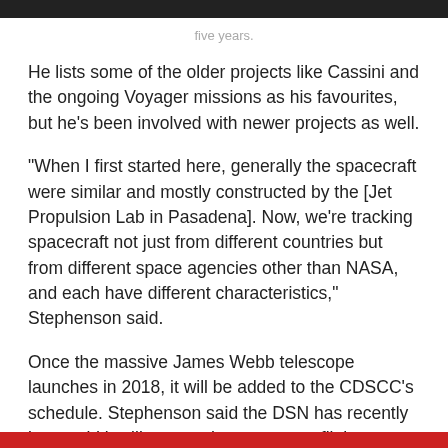five years.
He lists some of the older projects like Cassini and the ongoing Voyager missions as his favourites, but he’s been involved with newer projects as well.
“When I first started here, generally the spacecraft were similar and mostly constructed by the [Jet Propulsion Lab in Pasadena]. Now, we’re tracking spacecraft not just from different countries but from different space agencies other than NASA, and each have different characteristics,” Stephenson said.
Once the massive James Webb telescope launches in 2018, it will be added to the CDSCC’s schedule. Stephenson said the DSN has recently been told it will support human space flights beyond Earth-orbit